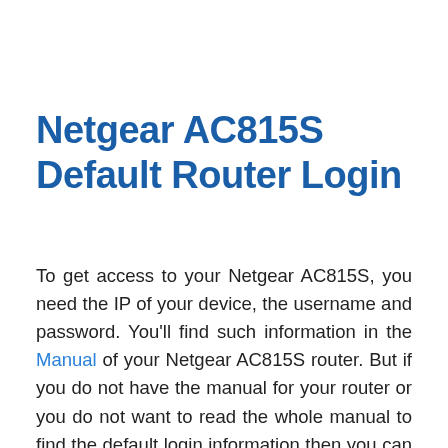Netgear AC815S Default Router Login
To get access to your Netgear AC815S, you need the IP of your device, the username and password. You'll find such information in the Manual of your Netgear AC815S router. But if you do not have the manual for your router or you do not want to read the whole manual to find the default login information then you can use the quick guide below. To get to the router login page it's necessary